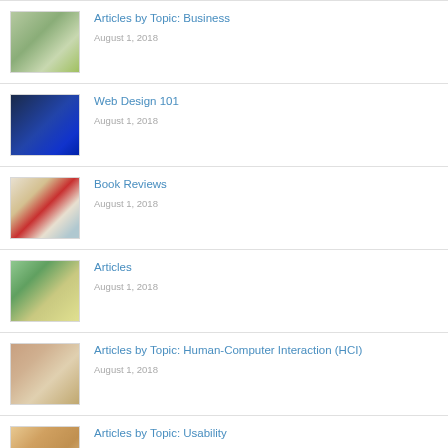Articles by Topic: Business
August 1, 2018
Web Design 101
August 1, 2018
Book Reviews
August 1, 2018
Articles
August 1, 2018
Articles by Topic: Human-Computer Interaction (HCI)
August 1, 2018
Articles by Topic: Usability
August 1, 2018
Articles by Topic: Web Standards